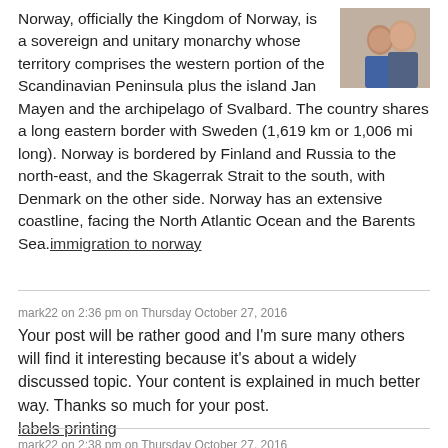Norway, officially the Kingdom of Norway, is a sovereign and unitary monarchy whose territory comprises the western portion of the Scandinavian Peninsula plus the island Jan Mayen and the archipelago of Svalbard. The country shares a long eastern border with Sweden (1,619 km or 1,006 mi long). Norway is bordered by Finland and Russia to the north-east, and the Skagerrak Strait to the south, with Denmark on the other side. Norway has an extensive coastline, facing the North Atlantic Ocean and the Barents Sea.immigration to norway
[Figure (photo): Small profile/avatar photo of two people in the top right corner]
mark22 on 2:36 pm on Thursday October 27, 2016
Your post will be rather good and I'm sure many others will find it interesting because it's about a widely discussed topic. Your content is explained in much better way. Thanks so much for your post.
labels printing
mark22 on 2:38 pm on Thursday October 27, 2016